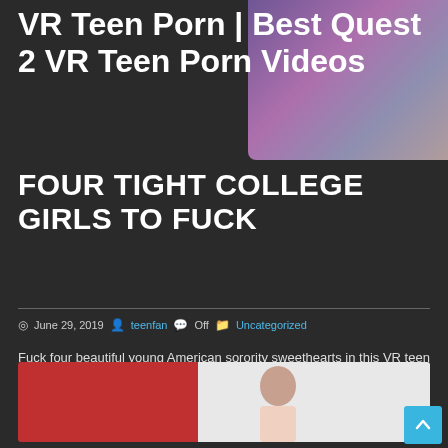VR Teen Porn | Best Quest 2 VR Teen Porn Videos
[Figure (photo): Blurred/overlay photo with purple and pink tones in upper right corner]
FOUR TIGHT COLLEGE GIRLS TO FUCK
June 29, 2019  teenfan  Off  Uncategorized
Fuck four beautiful young American sorority sweethearts in this VR teen sex orgy. Beautiful four girl orgy sees you get…
Read more
[Figure (photo): Photo showing a young woman with red hair in a room with red and white walls]